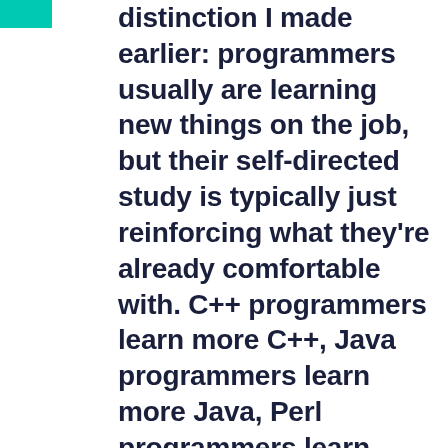distinction I made earlier: programmers usually are learning new things on the job, but their self-directed study is typically just reinforcing what they're already comfortable with. C++ programmers learn more C++, Java programmers learn more Java, Perl programmers learn more Perl. Linux users ignore Windows and vice-versa. UI developers don't learn tools or systems programming, and vice-versa. People stay in their comfort